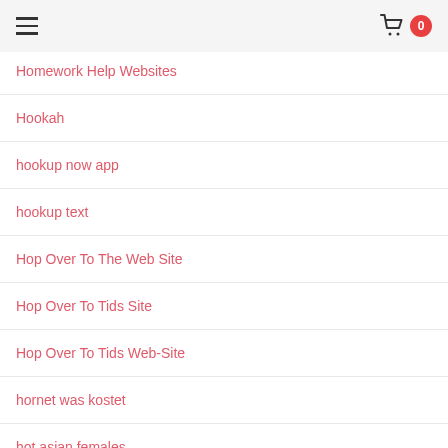menu | cart 0
Homework Help Websites
Hookah
hookup now app
hookup text
Hop Over To The Web Site
Hop Over To Tids Site
Hop Over To Tids Web-Site
hornet was kostet
hot asian females
hot asian girls
hot old asian women